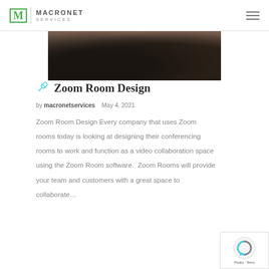MACRONET SERVICES
[Figure (photo): Partial view of a dark-toned conference room with chairs, sepia/moody lighting]
Zoom Room Design
by macronetservices   May 4, 2021
Zoom Room Design Every company that uses Zoom rooms today is looking at designing their conferencing rooms to work and function as a video collaboration space using the Zoom Room software.  Zoom Rooms will provide your team and customers with a great space to collaborate…